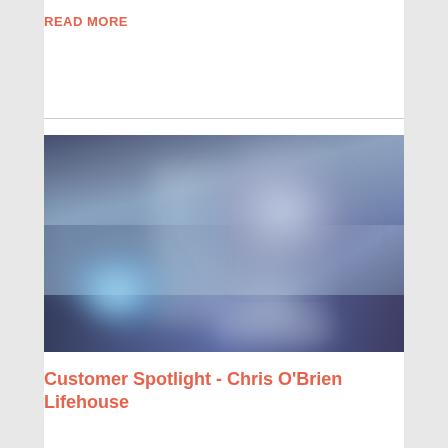READ MORE
[Figure (photo): Blurred abstract image with blue and purple tones suggesting an interior or architectural scene with soft glowing light]
Customer Spotlight - Chris O'Brien Lifehouse